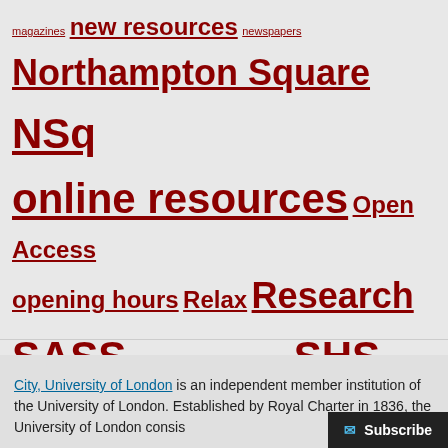magazines new resources newspapers Northampton Square NSq online resources Open Access opening hours Relax Research SASS service improvements SHS SMCSE Stress Subject Librarians Sustainability takeabreak User Services workshops your voice our action
City, University of London is an independent member institution of the University of London. Established by Royal Charter in 1836, the University of London consis...